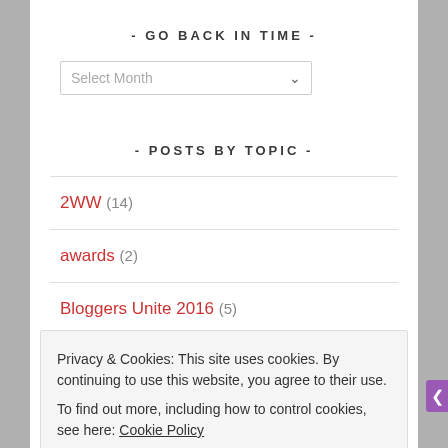- GO BACK IN TIME -
[Figure (screenshot): A dropdown selector labeled 'Select Month' with a down arrow]
- POSTS BY TOPIC -
2WW (14)
awards (2)
Bloggers Unite 2016 (5)
Privacy & Cookies: This site uses cookies. By continuing to use this website, you agree to their use. To find out more, including how to control cookies, see here: Cookie Policy
Close and accept